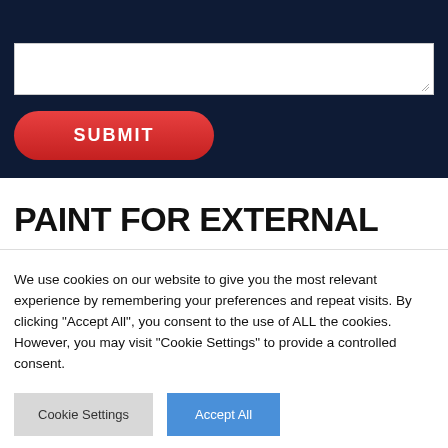[Figure (screenshot): Dark navy blue section with a white textarea input box at top and a red rounded SUBMIT button below it]
PAINT FOR EXTERNAL
We use cookies on our website to give you the most relevant experience by remembering your preferences and repeat visits. By clicking "Accept All", you consent to the use of ALL the cookies. However, you may visit "Cookie Settings" to provide a controlled consent.
Cookie Settings | Accept All